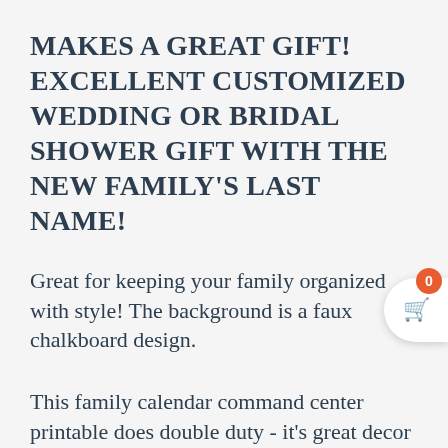MAKES A GREAT GIFT! EXCELLENT CUSTOMIZED WEDDING OR BRIDAL SHOWER GIFT WITH THE NEW FAMILY'S LAST NAME!
Great for keeping your family organized with style! The background is a faux chalkboard design.
This family calendar command center printable does double duty - it's great decor and has functionality! Bring a cozy, sweet feel to your home with this lovely family schedule chalkboard art printable. Simply print out and frame for an instant design statement and organizational tool. A great addition to any